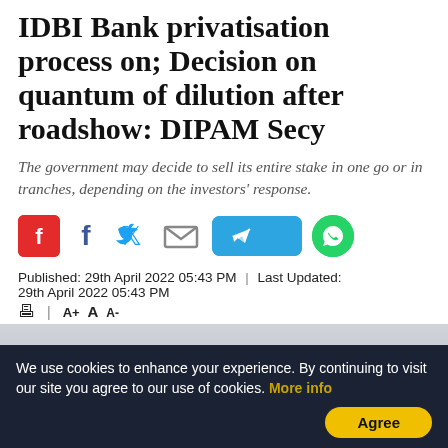IDBI Bank privatisation process on; Decision on quantum of dilution after roadshow: DIPAM Secy
The government may decide to sell its entire stake in one go or in tranches, depending on the investors' response.
[Figure (infographic): Social sharing buttons: Flipboard (red), Facebook (f), Twitter (bird), Email (envelope), Telegram (blue rounded button), WhatsApp (green circle)]
Published: 29th April 2022 05:43 PM  |  Last Updated: 29th April 2022 05:43 PM
[Figure (photo): IDBI Bank logo/emblem — a black circular crest with two crossed flags and two lions, with text 'SARVATRA UJJAYATE' on a ribbon, against a light grey background fading to dark blue at the bottom]
We use cookies to enhance your experience. By continuing to visit our site you agree to our use of cookies. More info